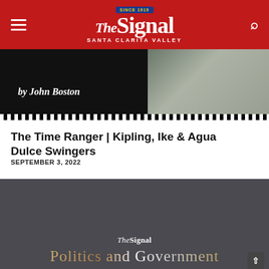The Signal — Santa Clarita Valley
[Figure (photo): Partial book cover image with text 'by John Boston' on dark background, with a person in denim shirt partially visible on the right side. Checkered border at the bottom.]
The Time Ranger | Kipling, Ike & Agua Dulce Swingers
SEPTEMBER 3, 2022
[Figure (photo): Dark gray promotional image for The Signal newspaper with text 'The Signal' and 'Politics and Government' in golden/white gradient lettering. Scroll-to-top button at bottom right.]